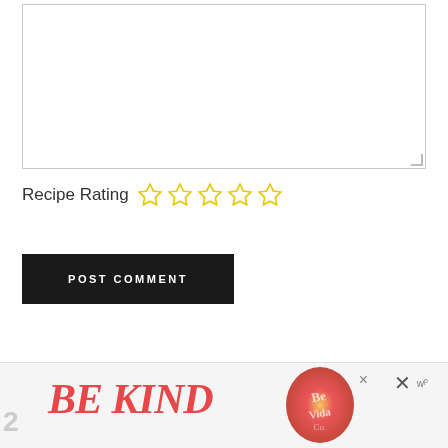[Figure (other): Empty text area input box with resize handle at bottom right corner]
Recipe Rating ☆☆☆☆☆
POST COMMENT
[Figure (other): Advertisement banner showing 'BE KIND' text in red italic with decorative logo image, close buttons and wp logo]